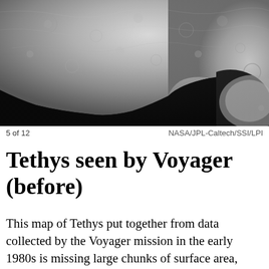[Figure (photo): Grayscale image of Saturn's moon Tethys as seen by the Voyager spacecraft, showing a partially lit surface with craters and dark space in the lower portion.]
5 of 12	NASA/JPL-Caltech/SSI/LPI
Tethys seen by Voyager (before)
This map of Tethys put together from data collected by the Voyager mission in the early 1980s is missing large chunks of surface area, while other parts are blurry. NASA's more recent Cassini mission gathered fresh data to help create a new set of color maps.